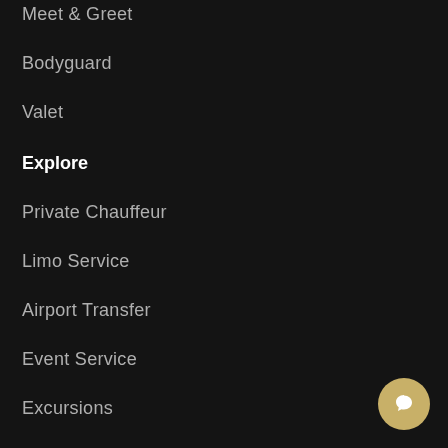Meet & Greet
Bodyguard
Valet
Explore
Private Chauffeur
Limo Service
Airport Transfer
Event Service
Excursions
Opportunities
Career
France Partnership